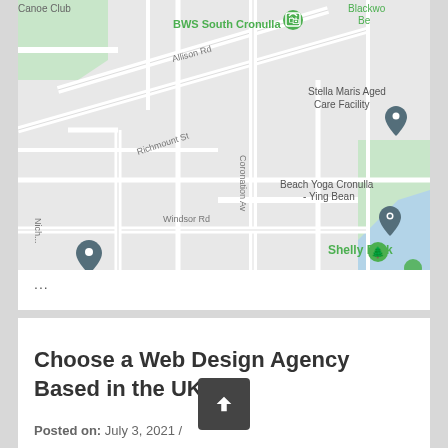[Figure (map): Google Maps screenshot showing street map of Cronulla area with labels: Canoe Club, BWS South Cronulla, Blackwo Be, Allison Rd, Richmount St, Stella Maris Aged Care Facility, Beach Yoga Cronulla - Ying Bean, Coronation Av, Windsor Rd, Shelly Park, Niche. Several map pins visible.]
...
Choose a Web Design Agency Based in the UK
Posted on: July 3, 2021 /
Categories: Internet/ Web Design
If you are looking to utilise web design Manchester